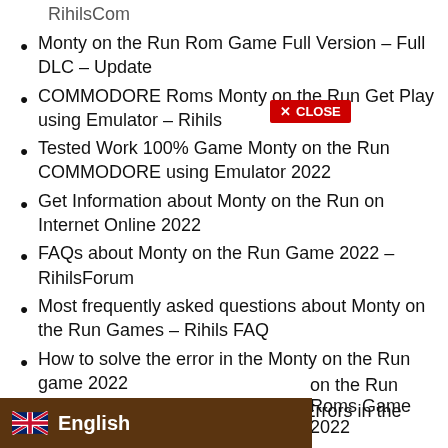RihilsCom
Monty on the Run Rom Game Full Version – Full DLC – Update
COMMODORE Roms Monty on the Run Get Play using Emulator – Rihils
Tested Work 100% Game Monty on the Run COMMODORE using Emulator 2022
Get Information about Monty on the Run on Internet Online 2022
FAQs about Monty on the Run Game 2022 – RihilsForum
Most frequently asked questions about Monty on the Run Games – Rihils FAQ
How to solve the error in the Monty on the Run game 2022
Work 100% – Overcome Various Errors in the Monty on the Run Game
on the Run Roms Game 2022
[Figure (screenshot): Red 'X CLOSE' button overlay on the page]
[Figure (screenshot): Language selector bar showing UK flag and 'English' text in dark brown bar]